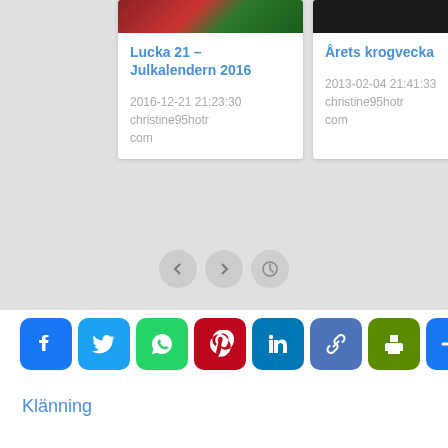[Figure (screenshot): Carousel widget with two blog post cards on grey background. Left card: 'Lucka 21 – Julkalendern 2016', date 2016-12-21 21:23:30, author christine95hotmail.com. Right card: 'Årets krogvecka', date 2013-02-04 21:41:33, author christine95hotmail.com. Navigation arrows and circle button at bottom.]
[Figure (infographic): Social share buttons row: Facebook (blue f), Twitter (blue bird), WhatsApp (green phone), Pinterest (red P), LinkedIn (blue in), Link/Copy (blue chain), Print (green printer), More (blue plus)]
Klänning